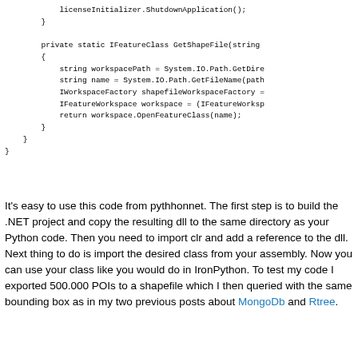licenseInitializer.ShutdownApplication();
        }

        private static IFeatureClass GetShapeFile(string
        {
            string workspacePath = System.IO.Path.GetDire
            string name = System.IO.Path.GetFileName(path
            IWorkspaceFactory shapefileWorkspaceFactory =
            IFeatureWorkspace workspace = (IFeatureWorksp
            return workspace.OpenFeatureClass(name);
        }
    }
}
It's easy to use this code from pythhonnet. The first step is to build the .NET project and copy the resulting dll to the same directory as your Python code. Then you need to import clr and add a reference to the dll. Next thing to do is import the desired class from your assembly. Now you can use your class like you would do in IronPython. To test my code I exported 500.000 POIs to a shapefile which I then queried with the same bounding box as in my two previous posts about MongoDb and Rtree.